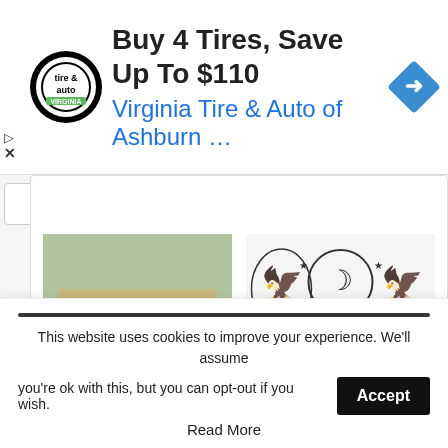[Figure (screenshot): Advertisement banner: tire & auto logo, Buy 4 Tires Save Up To $110, Virginia Tire & Auto of Ashburn ..., navigation arrow icon]
[Figure (photo): Photo of IHC (Islamabad High Court) building with columns and driveway, tagged NATIONAL]
IHC orders interior ministry to probe Gill torture case
[Figure (illustration): The Nation newspaper masthead logo with eagle and crescent, tagged ISLAMABAD]
4 arrested for abusing woman
< PREV   NEXT >
This website uses cookies to improve your experience. We'll assume you're ok with this, but you can opt-out if you wish.
Accept
Read More